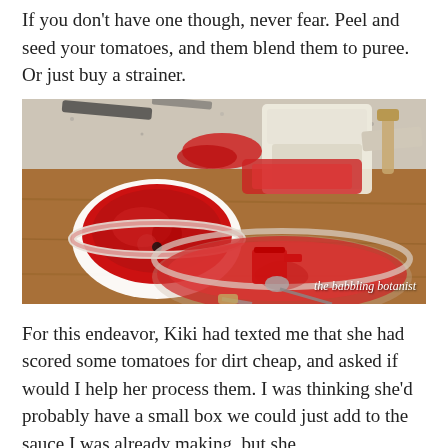If you don't have one though, never fear. Peel and seed your tomatoes, and them blend them to puree. Or just buy a strainer.
[Figure (photo): Photo of tomato processing equipment on a wooden cutting board: a food strainer/mill machine in the background, a white bowl with tomato pulp on the left, a large glass bowl with tomato puree and a red measuring cup and spoon in the foreground. Watermark reads 'the babbling botanist'.]
For this endeavor, Kiki had texted me that she had scored some tomatoes for dirt cheap, and asked if would I help her process them. I was thinking she'd probably have a small box we could just add to the sauce I was already making, but she